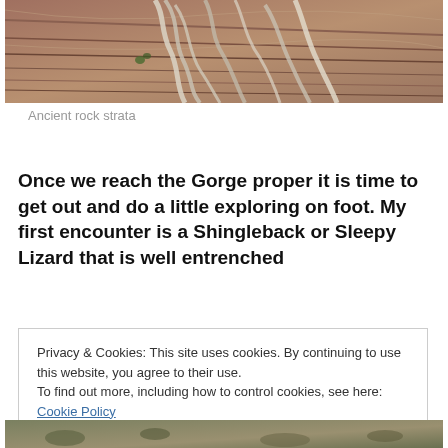[Figure (photo): Photograph of ancient rock strata with twisted dried roots or bark overlaid on layered rock surface, brownish-gray tones.]
Ancient rock strata
Once we reach the Gorge proper it is time to get out and do a little exploring on foot. My first encounter is a Shingleback or Sleepy Lizard that is well entrenched
Privacy & Cookies: This site uses cookies. By continuing to use this website, you agree to their use.
To find out more, including how to control cookies, see here: Cookie Policy
Close and accept
[Figure (photo): Bottom partial photograph showing natural ground/rock surface.]